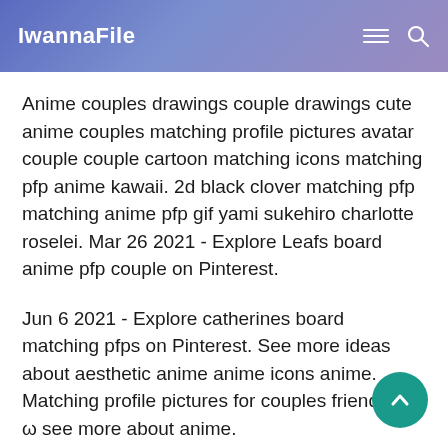IwannaFile
Anime couples drawings couple drawings cute anime couples matching profile pictures avatar couple couple cartoon matching icons matching pfp anime kawaii. 2d black clover matching pfp matching anime pfp gif yami sukehiro charlotte roselei. Mar 26 2021 - Explore Leafs board anime pfp couple on Pinterest.
Jun 6 2021 - Explore catherines board matching pfps on Pinterest. See more ideas about aesthetic anime anime icons anime. Matching profile pictures for couples friends etc ω see more about anime.
Matching profile pictures for couples friends etc see more about anime art and icon. Sep 4 2020 explore twixigan s board matching pfp on pinterest. Crush as a 90s animewekimeki wekimeki